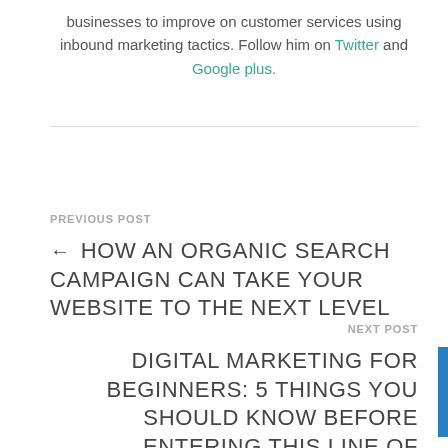businesses to improve on customer services using inbound marketing tactics. Follow him on Twitter and Google plus.
PREVIOUS POST
← HOW AN ORGANIC SEARCH CAMPAIGN CAN TAKE YOUR WEBSITE TO THE NEXT LEVEL
NEXT POST
DIGITAL MARKETING FOR BEGINNERS: 5 THINGS YOU SHOULD KNOW BEFORE ENTERING THIS LINE OF BUSINESS →